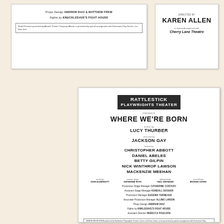[Figure (photo): Top-left document snippet showing Props Design credit for Andrew Diaz & Matthew Frew, Fights by Knuckledave's Fight House, and a boxed arrangement/licensing notice.]
[Figure (photo): Top-right document snippet showing Directed by Karen Allen, In Special Arrangement with Cherry Lane Theatre.]
[Figure (photo): Main theater program page for Rattlestick Playwrights Theater presenting WHERE WE'RE BORN, written by Lucy Thurber, directed by Jackson Gay, featuring Christopher Abbott, Daniel Abeles, Betty Gilpin, Nick Winthrop Lawson, Mackenzie Meehan, with design credits and staff.]